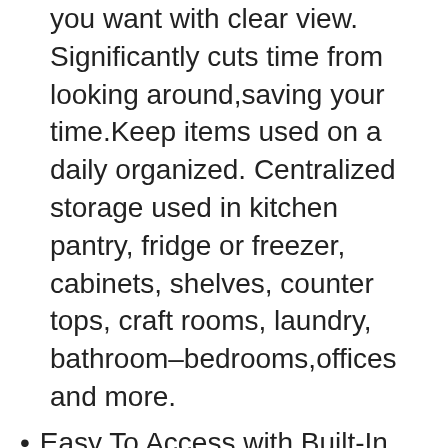you want with clear view. Significantly cuts time from looking around,saving your time.Keep items used on a daily organized. Centralized storage used in kitchen pantry, fridge or freezer, cabinets, shelves, counter tops, craft rooms, laundry, bathroom–bedrooms,offices and more.
Easy To Access with Built-In Handle: Clear bins with built-in and easy-grip side handles make it easy to transport items; Getting things in the back of the frig a breeze. No